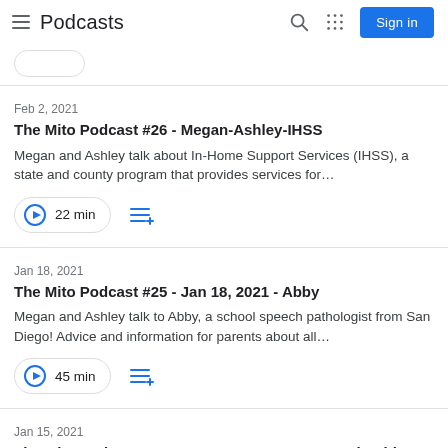Podcasts
Feb 2, 2021
The Mito Podcast #26 - Megan-Ashley-IHSS
Megan and Ashley talk about In-Home Support Services (IHSS), a state and county program that provides services for…
22 min
Jan 18, 2021
The Mito Podcast #25 - Jan 18, 2021 - Abby
Megan and Ashley talk to Abby, a school speech pathologist from San Diego! Advice and information for parents about all…
45 min
Jan 15, 2021
The Mito Podcast #24 - Jan 14, 2021 - Megan and Ashley